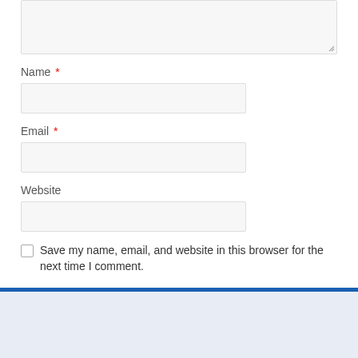[Figure (screenshot): Textarea input box (comment field) shown partially at top of page, with resize handle at bottom-right corner]
Name *
[Figure (screenshot): Name text input field, empty, with light gray background and border]
Email *
[Figure (screenshot): Email text input field, empty, with light gray background and border]
Website
[Figure (screenshot): Website text input field, empty, with light gray background and border]
Save my name, email, and website in this browser for the next time I comment.
[Figure (screenshot): Post Comment button, blue background with white text]